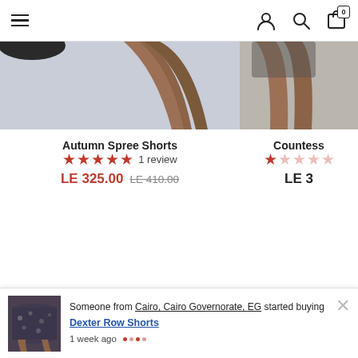Navigation header with hamburger menu, user icon, search icon, and cart (0)
[Figure (photo): Product photo of Autumn Spree Shorts, cropped view of legs/lower body against light blue-grey background]
Autumn Spree Shorts
★★★★★ 1 review
LE 325.00 LE 410.00
[Figure (photo): Partial product photo of Countess item, cropped view of legs against similar background]
Countess
★★☆☆☆
LE 3
Register to join our VIP list for Exclusive promotions & coupons
[Figure (photo): Small product thumbnail of Dexter Row Shorts (dark patterned shorts)]
Someone from Cairo, Cairo Governorate, EG started buying
Dexter Row Shorts
1 week ago